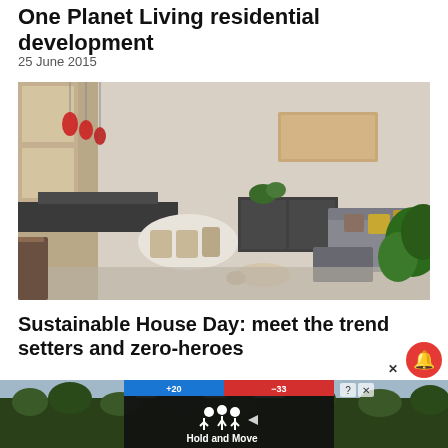One Planet Living residential development
25 June 2015
[Figure (photo): Interior photo of a modern sustainable living space with open-plan kitchen, dining area with Scandinavian-style chairs, lounge with grey corner sofa and yellow cushions, a dog lying on a concrete floor, large wooden wall cladding, and tropical plant in foreground right]
Sustainable House Day: meet the trend setters and zero-heroes
10 September 2019
[Figure (screenshot): Partial screenshot of a webpage with a forest background and an advertisement overlay showing 'Hold and Move' app with blue and red header bar, notification bell icon, close button, and ad controls]